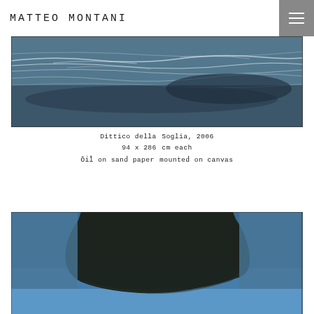MATTEO MONTANI
[Figure (photo): Horizontal panoramic painting showing layered blue-gray tones with white flowing wave-like streaks across a dark background — artwork titled Dittico della Soglia, 2006]
Dittico della Soglia, 2006
94 x 286 cm each
Oil on sand paper mounted on canvas
[Figure (photo): Partial view of another painting showing a large dark form (black/dark green) at top center, fading into luminous blue at the bottom — partially cropped at page edge]